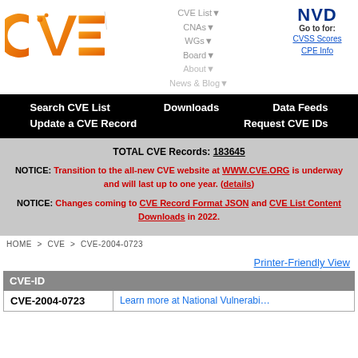[Figure (logo): CVE logo - orange gradient letters]
CVE List▼
CNAs▼
WGs▼
Board▼
About▼
News & Blog▼
[Figure (logo): NVD logo - dark blue letters]
Go to for:
CVSS Scores
CPE Info
Search CVE List    Downloads    Data Feeds
Update a CVE Record    Request CVE IDs
TOTAL CVE Records: 183645
NOTICE: Transition to the all-new CVE website at WWW.CVE.ORG is underway and will last up to one year. (details)
NOTICE: Changes coming to CVE Record Format JSON and CVE List Content Downloads in 2022.
HOME > CVE > CVE-2004-0723
Printer-Friendly View
| CVE-ID |
| --- |
| CVE-2004-0723 | Learn more at National Vulnerabi… |